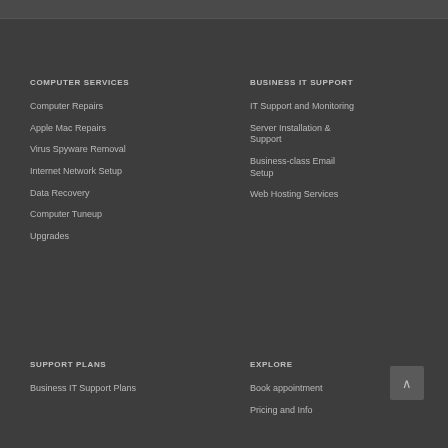COMPUTER SERVICES
Computer Repairs
Apple Mac Repairs
Virus Spyware Removal
Internet Network Setup
Data Recovery
Computer Tuneup
Upgrades
BUSINESS IT SUPPORT
IT Support and Monitoring
Server Installation & Support
Business-class Email Setup
Web Hosting Services
SUPPORT PLANS
Business IT Support Plans
EXPLORE
Book appointment
Pricing and Info